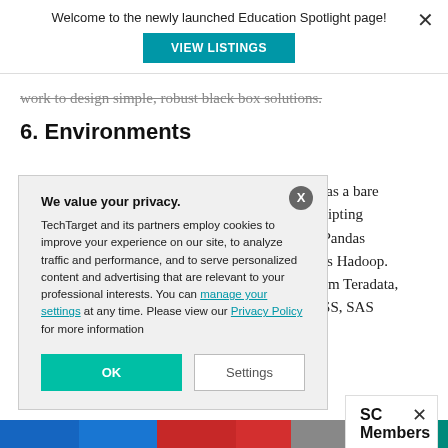Welcome to the newly launched Education Spotlight page!
VIEW LISTINGS
work to design simple, robust black box solutions.
6. Environments
We value your privacy.
TechTarget and its partners employ cookies to improve your experience on our site, to analyze traffic and performance, and to serve personalized content and advertising that are relevant to your professional interests. You can manage your settings at any time. Please view our Privacy Policy for more information
such as a bare
th scripting
n as Pandas
uch as Hadoop.
m from Teradata,
e SPSS, SAS
SC Members